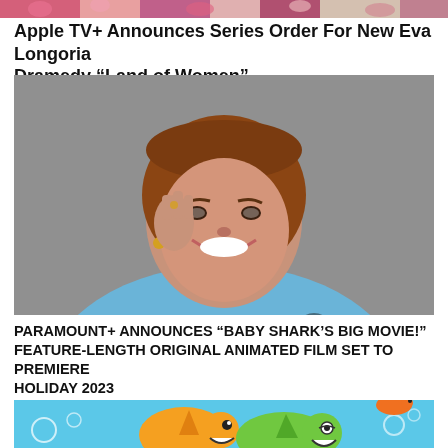[Figure (photo): Partial top strip of a photo showing colorful flowers or festive scene]
Apple TV+ Announces Series Order For New Eva Longoria Dramedy “Land of Women”
[Figure (photo): Portrait of a smiling middle-aged woman with brown bob haircut, wearing a blue floral top, hand raised near her face, photographed against a gray background]
PARAMOUNT+ ANNOUNCES “BABY SHARK’S BIG MOVIE!” FEATURE-LENGTH ORIGINAL ANIMATED FILM SET TO PREMIERE HOLIDAY 2023
[Figure (illustration): Animated Baby Shark characters (orange and green sharks) with bubbles on a light blue underwater background]